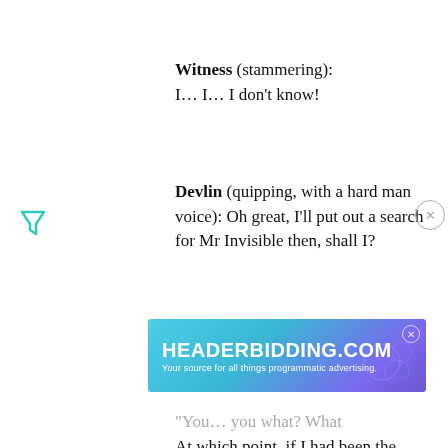Witness (stammering): I… I… I don't know!
Devlin (quipping, with a hard man voice): Oh great, I'll put out a search for Mr Invisible then, shall I?
At which point, if I had been the witness, I'd have recovered some of my confidence, laughed to
[Figure (logo): HEADERBIDDING.COM advertisement banner - Your source for all things programmatic advertising.]
"You… you what? What